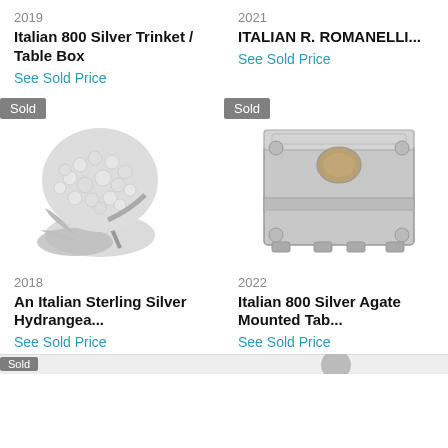2019
Italian 800 Silver Trinket / Table Box
See Sold Price
2021
ITALIAN R. ROMANELLI...
See Sold Price
[Figure (photo): Silver hydrangea brooch/ornament with crystal/rhinestone flower and leaf details, marked Sold]
[Figure (photo): Italian 800 silver agate mounted table box with ornate relief decoration, marked Sold]
2018
An Italian Sterling Silver Hydrangea...
See Sold Price
2022
Italian 800 Silver Agate Mounted Tab...
See Sold Price